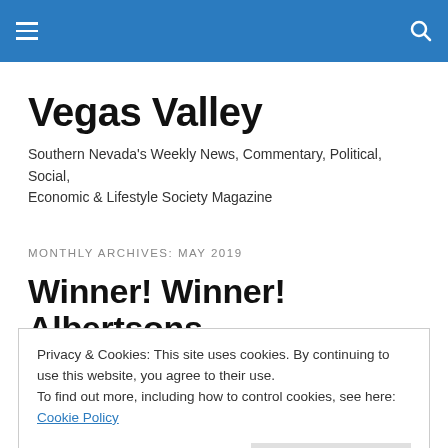Vegas Valley — navigation bar with hamburger menu and search icon
Vegas Valley
Southern Nevada's Weekly News, Commentary, Political, Social, Economic & Lifestyle Society Magazine
MONTHLY ARCHIVES: MAY 2019
Winner! Winner! Albertsons
Privacy & Cookies: This site uses cookies. By continuing to use this website, you agree to their use.
To find out more, including how to control cookies, see here: Cookie Policy

Close and accept
[Figure (photo): Partial view of a colorful image at the bottom of the page, partially obscured by the cookie banner]